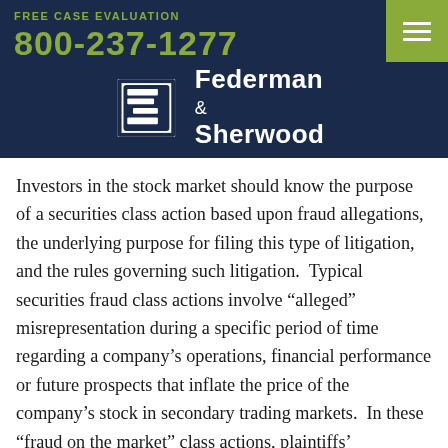FREE CASE EVALUATION
800-237-1277
[Figure (logo): Federman & Sherwood law firm logo with stylized F&S icon on dark navy background]
Investors in the stock market should know the purpose of a securities class action based upon fraud allegations, the underlying purpose for filing this type of litigation, and the rules governing such litigation. Typical securities fraud class actions involve “alleged” misrepresentation during a specific period of time regarding a company’s operations, financial performance or future prospects that inflate the price of the company’s stock in secondary trading markets. In these “fraud on the market” class actions, plaintiffs’